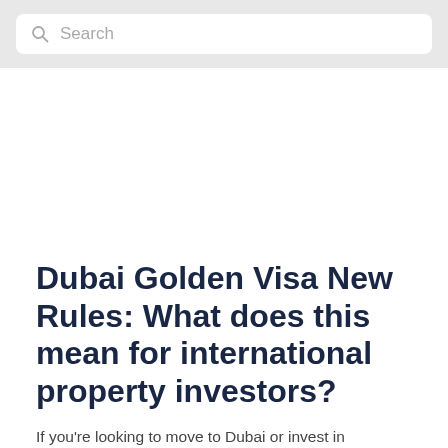Search
Dubai Golden Visa New Rules: What does this mean for international property investors?
If you're looking to move to Dubai or invest in